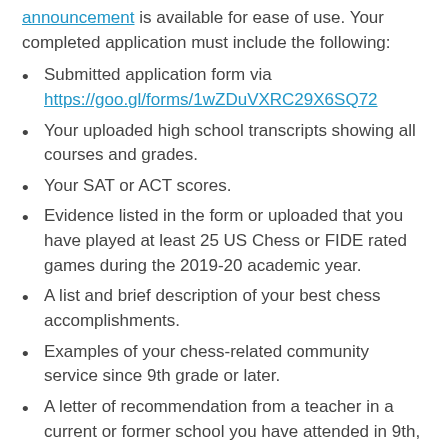announcement is available for ease of use. Your completed application must include the following:
Submitted application form via https://goo.gl/forms/1wZDuVXRC29X6SQ72
Your uploaded high school transcripts showing all courses and grades.
Your SAT or ACT scores.
Evidence listed in the form or uploaded that you have played at least 25 US Chess or FIDE rated games during the 2019-20 academic year.
A list and brief description of your best chess accomplishments.
Examples of your chess-related community service since 9th grade or later.
A letter of recommendation from a teacher in a current or former school you have attended in 9th, 10th, 11th, or 12th grade.
A letter of recommendation from a Chess Coach or Tournament Director.